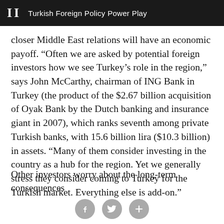II  Turkish Foreign Policy Power Play
closer Middle East relations will have an economic payoff. “Often we are asked by potential foreign investors how we see Turkey’s role in the region,” says John McCarthy, chairman of ING Bank in Turkey (the product of the $2.67 billion acquisition of Oyak Bank by the Dutch banking and insurance giant in 2007), which ranks seventh among private Turkish banks, with 15.6 billion lira ($10.3 billion) in assets. “Many of them consider investing in the country as a hub for the region. Yet we generally stress they consider coming to Turkey for the Turkish market. Everything else is add-on.”
Other investors worry about the long-term consequences